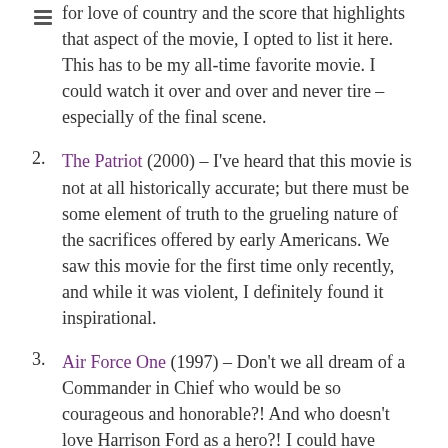(continuation) for love of country and the score that highlights that aspect of the movie, I opted to list it here. This has to be my all-time favorite movie. I could watch it over and over and never tire – especially of the final scene.
2. The Patriot (2000) – I've heard that this movie is not at all historically accurate; but there must be some element of truth to the grueling nature of the sacrifices offered by early Americans. We saw this movie for the first time only recently, and while it was violent, I definitely found it inspirational.
3. Air Force One (1997) – Don't we all dream of a Commander in Chief who would be so courageous and honorable?! And who doesn't love Harrison Ford as a hero?! I could have included his others here as well – Patriot Games and Clear and Present